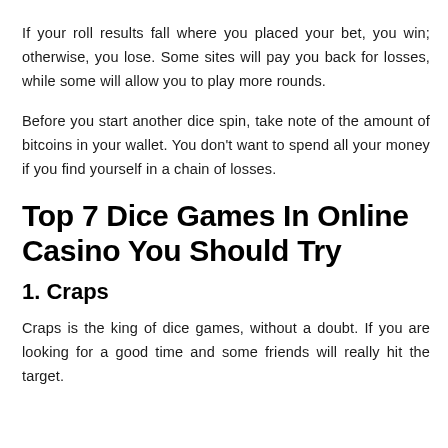If your roll results fall where you placed your bet, you win; otherwise, you lose. Some sites will pay you back for losses, while some will allow you to play more rounds.
Before you start another dice spin, take note of the amount of bitcoins in your wallet. You don’t want to spend all your money if you find yourself in a chain of losses.
Top 7 Dice Games In Online Casino You Should Try
1. Craps
Craps is the king of dice games, without a doubt. If you are looking for a good time and some friends will really hit the target.